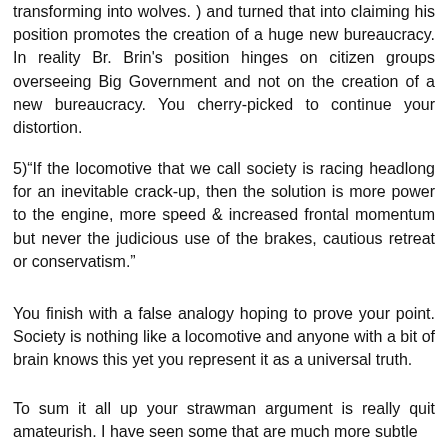transforming into wolves. ) and turned that into claiming his position promotes the creation of a huge new bureaucracy. In reality Br. Brin's position hinges on citizen groups overseeing Big Government and not on the creation of a new bureaucracy. You cherry-picked to continue your distortion.
5)“If the locomotive that we call society is racing headlong for an inevitable crack-up, then the solution is more power to the engine, more speed & increased frontal momentum but never the judicious use of the brakes, cautious retreat or conservatism.”
You finish with a false analogy hoping to prove your point. Society is nothing like a locomotive and anyone with a bit of brain knows this yet you represent it as a universal truth.
To sum it all up your strawman argument is really quit amateurish. I have seen some that are much more subtle